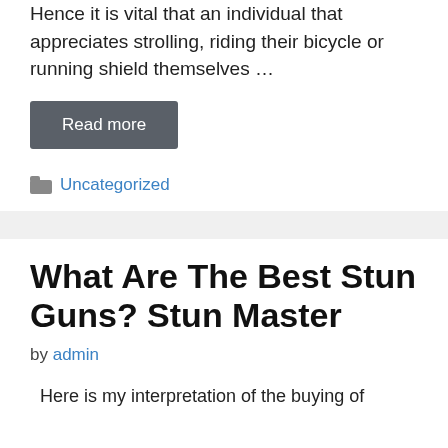Hence it is vital that an individual that appreciates strolling, riding their bicycle or running shield themselves …
Read more
Uncategorized
What Are The Best Stun Guns? Stun Master
by admin
Here is my interpretation of the buying of